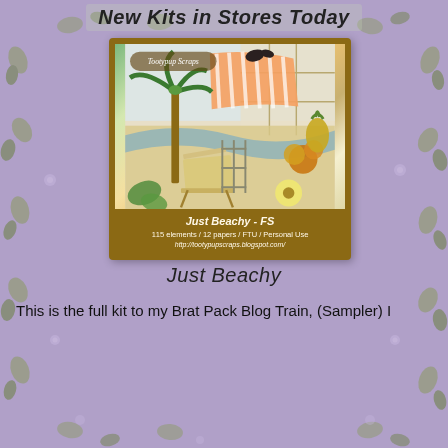New Kits in Stores Today
[Figure (illustration): Product kit preview image for 'Just Beachy - FS' scrapbooking kit by Tootypup Scraps, showing beach scene with palm tree, deck chair, striped awning, tropical flowers, fruits, and pineapple. Footer text: 'Just Beachy - FS / 115 elements / 12 papers / FTU / Personal Use / http://tootypupscraps.blogspot.com/']
Just Beachy
This is the full kit to my Brat Pack Blog Train, (Sampler) I